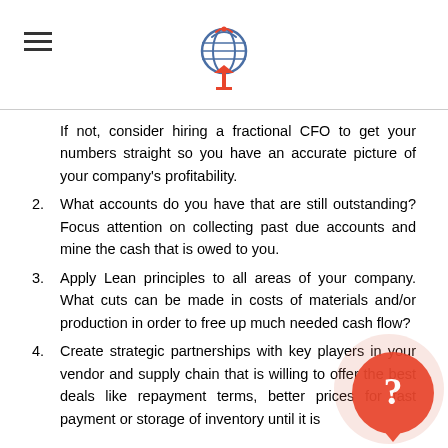[Logo: global broadcast icon]
If not, consider hiring a fractional CFO to get your numbers straight so you have an accurate picture of your company's profitability.
2. What accounts do you have that are still outstanding? Focus attention on collecting past due accounts and mine the cash that is owed to you.
3. Apply Lean principles to all areas of your company. What cuts can be made in costs of materials and/or production in order to free up much needed cash flow?
4. Create strategic partnerships with key players in your vendor and supply chain that is willing to offer the best deals like repayment terms, better prices for fast payment or storage of inventory until it is